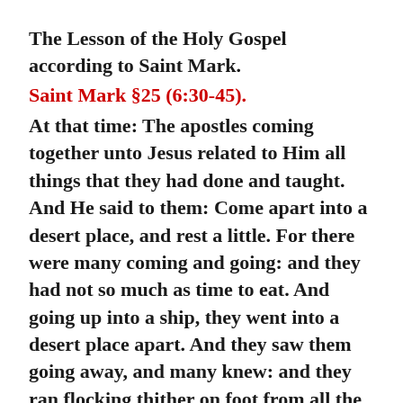The Lesson of the Holy Gospel according to Saint Mark.
Saint Mark §25 (6:30-45).
At that time: The apostles coming together unto Jesus related to Him all things that they had done and taught. And He said to them: Come apart into a desert place, and rest a little. For there were many coming and going: and they had not so much as time to eat. And going up into a ship, they went into a desert place apart. And they saw them going away, and many knew: and they ran flocking thither on foot from all the cities, and were there